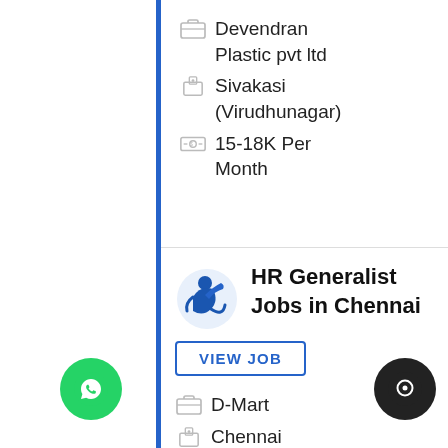Devendran Plastic pvt ltd
Sivakasi (Virudhunagar)
15-18K Per Month
HR Generalist Jobs in Chennai
VIEW JOB
D-Mart
Chennai
15-20K Per Month